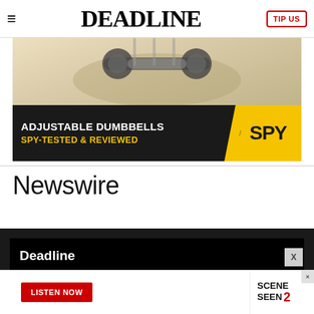DEADLINE
[Figure (infographic): Advertisement banner for SPY showing adjustable dumbbells with text 'ADJUSTABLE DUMBBELLS SPY-TESTED & REVIEWED' on a dark background with yellow SPY logo]
Newswire
Deadline
About Us
[Figure (infographic): Bottom advertisement bar showing 'LISTEN NOW' button in red and 'SCENE SEEN 2' logo on the right]